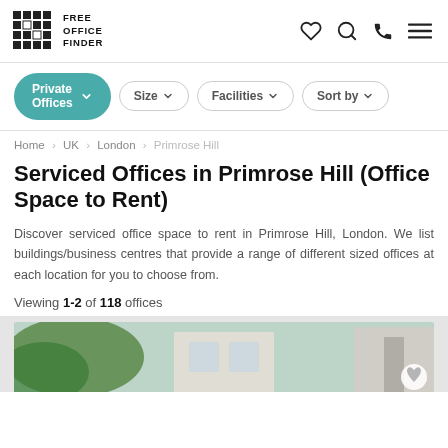FREE OFFICE FINDER
Private Offices
Size
Facilities
Sort by
Home > UK > London > Primrose Hill
Serviced Offices in Primrose Hill (Office Space to Rent)
Discover serviced office space to rent in Primrose Hill, London. We list buildings/business centres that provide a range of different sized offices at each location for you to choose from.
Viewing 1-2 of 118 offices
[Figure (photo): Partial view of a building exterior with greenery, partially visible at bottom of page]